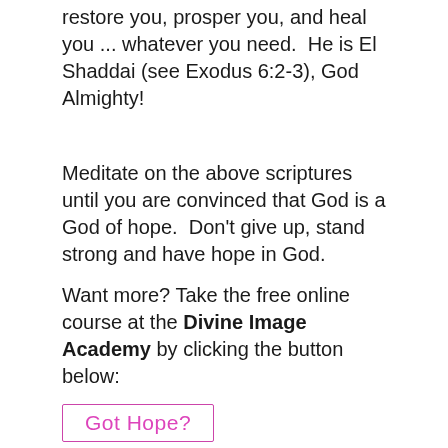restore you, prosper you, and heal you ... whatever you need.  He is El Shaddai (see Exodus 6:2-3), God Almighty!
Meditate on the above scriptures until you are convinced that God is a God of hope.  Don't give up, stand strong and have hope in God.
Want more? Take the free online course at the Divine Image Academy by clicking the button below:
[Figure (other): Button labeled 'Got Hope?' with pink/magenta text and border]
Tags: hope, God
[Figure (other): Social media sharing icons: Facebook, Twitter, LinkedIn, StumbleUpon, and one other icon]